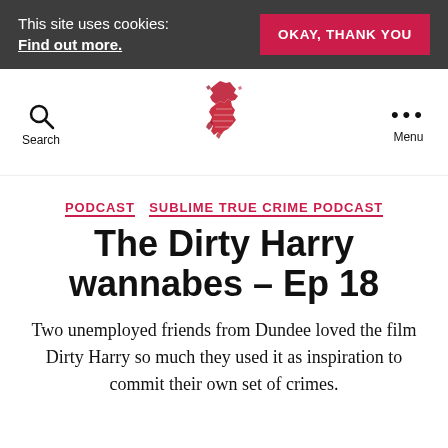This site uses cookies: Find out more. OKAY, THANK YOU
Search | [UK Map Logo] | Menu
PODCAST  SUBLIME TRUE CRIME PODCAST
The Dirty Harry wannabes – Ep 18
Two unemployed friends from Dundee loved the film Dirty Harry so much they used it as inspiration to commit their own set of crimes.